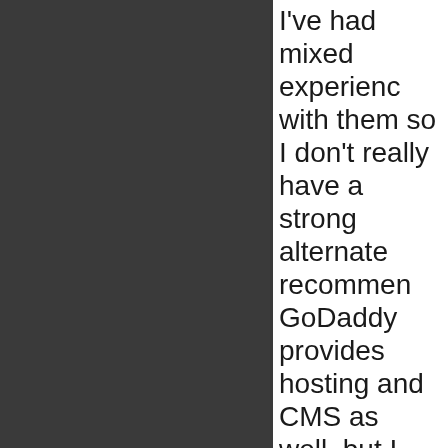I've had mixed experiences with them so I don't really have a strong alternate recommendation. GoDaddy provides hosting and CMS as well, but I don't think it is quite as easy to use as Google Sites